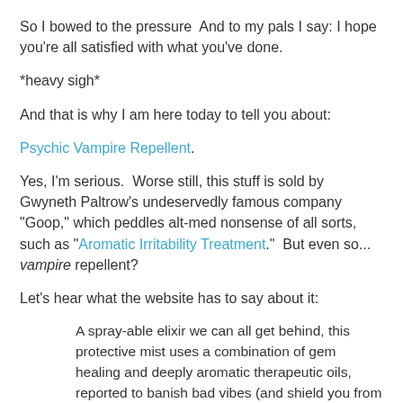So I bowed to the pressure  And to my pals I say: I hope you're all satisfied with what you've done.
*heavy sigh*
And that is why I am here today to tell you about:
Psychic Vampire Repellent.
Yes, I'm serious.  Worse still, this stuff is sold by Gwyneth Paltrow's undeservedly famous company "Goop," which peddles alt-med nonsense of all sorts, such as "Aromatic Irritability Treatment."  But even so... vampire repellent?
Let's hear what the website has to say about it:
A spray-able elixir we can all get behind, this protective mist uses a combination of gem healing and deeply aromatic therapeutic oils, reported to banish bad vibes (and shield you from the people who may be causing them). Fans spray generously around their heads to